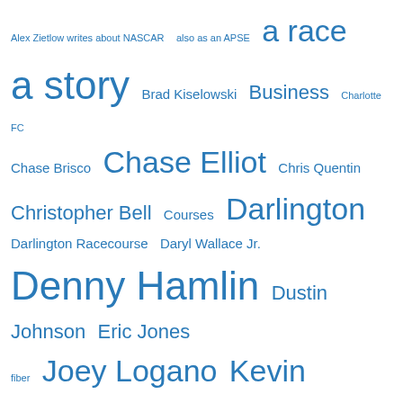Alex Zietlow writes about NASCAR  also as an APSE  a race  a story  Brad Kiselowski  Business  Charlotte FC  Chase Brisco  Chase Elliot  Chris Quentin  Christopher Bell  Courses  Darlington  Darlington Racecourse  Daryl Wallace Jr.  Denny Hamlin  Dustin Johnson  Eric Jones  fiber  Joey Logano  Kevin Harvick  Korn Ferry Tour Championship  Kurt Busch  Kyle Bush
We use cookies on our website to give you the most relevant experience by remembering your preferences and repeat visits. By clicking “Accept All”, you consent to the use of ALL the cookies. However, you may visit "Cookie Settings" to provide a controlled consent.